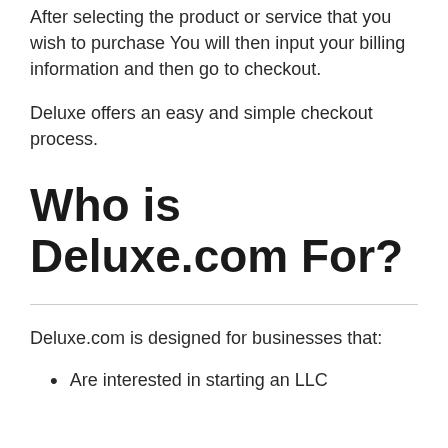After selecting the product or service that you wish to purchase You will then input your billing information and then go to checkout.
Deluxe offers an easy and simple checkout process.
Who is Deluxe.com For?
Deluxe.com is designed for businesses that:
Are interested in starting an LLC